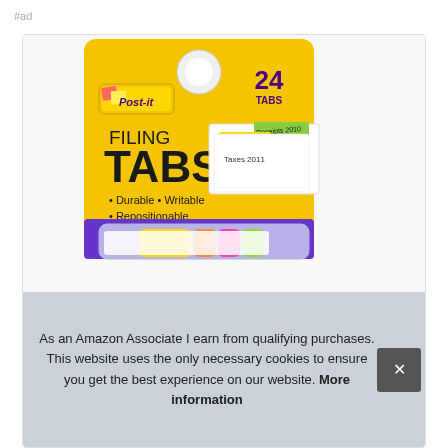#ad
[Figure (photo): Post-it Filing Tabs product package. Yellow packaging with Post-it logo, showing 24 TABS count. Text reads: FILING TABS. Bullet points: Durable, Writable, Repositionable. Shows colorful filing tabs (purple, yellow, orange, pink, green) in a clear plastic tray. Sample tabs shown labeled Taxes 2010, Taxes 2011, Receipts 2010.]
As an Amazon Associate I earn from qualifying purchases. This website uses the only necessary cookies to ensure you get the best experience on our website. More information